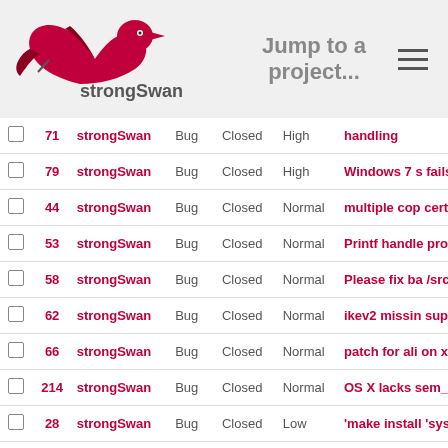strongSwan — Jump to a project...
|  | # | Project | Tracker | Status | Priority | Subject |
| --- | --- | --- | --- | --- | --- | --- |
|  | 71 | strongSwan | Bug | Closed | High | handling |
|  | 79 | strongSwan | Bug | Closed | High | Windows 7 s fails to verify signatures d |
|  | 44 | strongSwan | Bug | Closed | Normal | multiple cop certificate in |
|  | 53 | strongSwan | Bug | Closed | Normal | Printf handle proposal_t |
|  | 58 | strongSwan | Bug | Closed | Normal | Please fix ba /src/ipsec/ips |
|  | 62 | strongSwan | Bug | Closed | Normal | ikev2 missin support not |
|  | 66 | strongSwan | Bug | Closed | Normal | patch for ali on xscale AF |
|  | 214 | strongSwan | Bug | Closed | Normal | OS X lacks sem_timedw |
|  | 28 | strongSwan | Bug | Closed | Low | 'make install 'sysconfdir' exist |